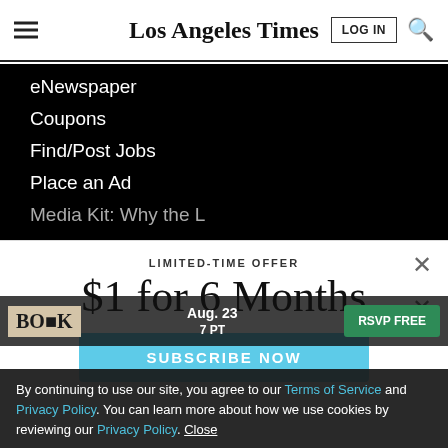Los Angeles Times
eNewspaper
Coupons
Find/Post Jobs
Place an Ad
Media Kit: Why the L
LIMITED-TIME OFFER
$1 for 6 Months
SUBSCRIBE NOW
By continuing to use our site, you agree to our Terms of Service and Privacy Policy. You can learn more about how we use cookies by reviewing our Privacy Policy. Close